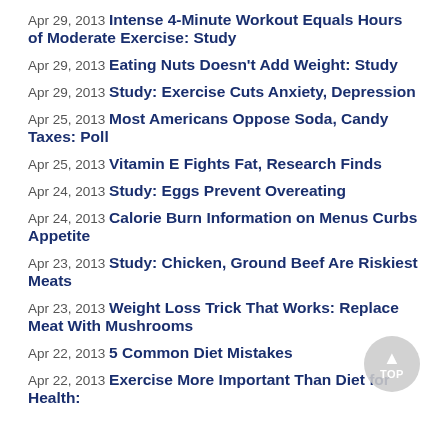Apr 29, 2013 Intense 4-Minute Workout Equals Hours of Moderate Exercise: Study
Apr 29, 2013 Eating Nuts Doesn't Add Weight: Study
Apr 29, 2013 Study: Exercise Cuts Anxiety, Depression
Apr 25, 2013 Most Americans Oppose Soda, Candy Taxes: Poll
Apr 25, 2013 Vitamin E Fights Fat, Research Finds
Apr 24, 2013 Study: Eggs Prevent Overeating
Apr 24, 2013 Calorie Burn Information on Menus Curbs Appetite
Apr 23, 2013 Study: Chicken, Ground Beef Are Riskiest Meats
Apr 23, 2013 Weight Loss Trick That Works: Replace Meat With Mushrooms
Apr 22, 2013 5 Common Diet Mistakes
Apr 22, 2013 Exercise More Important Than Diet for Health: